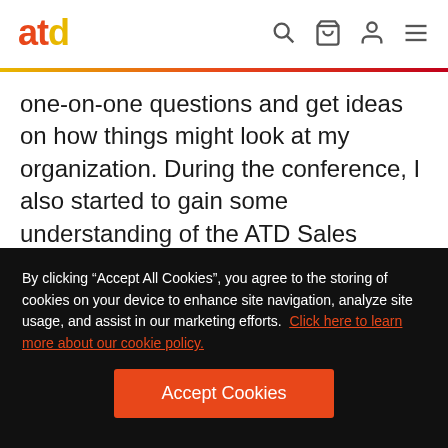atd
one-on-one questions and get ideas on how things might look at my organization. During the conference, I also started to gain some understanding of the ATD Sales Competency model. This was the perfect launching pad into the ATD Sales Enablement Certificate.
By clicking “Accept All Cookies”, you agree to the storing of cookies on your device to enhance site navigation, analyze site usage, and assist in our marketing efforts.  Click here to learn more about our cookie policy.
Accept Cookies